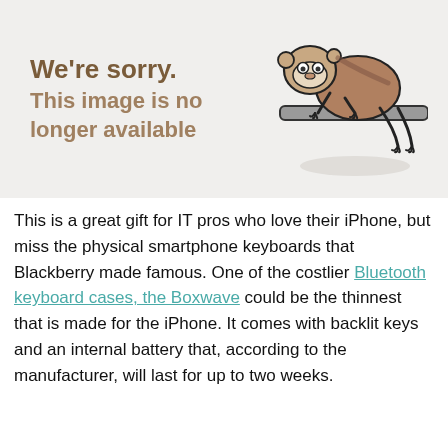[Figure (illustration): A placeholder image with a light gray background showing the text 'We're sorry. This image is no longer available' in brown/tan bold text on the left, and a cartoon sloth hanging from a bar on the right.]
This is a great gift for IT pros who love their iPhone, but miss the physical smartphone keyboards that Blackberry made famous. One of the costlier Bluetooth keyboard cases, the Boxwave could be the thinnest that is made for the iPhone. It comes with backlit keys and an internal battery that, according to the manufacturer, will last for up to two weeks.